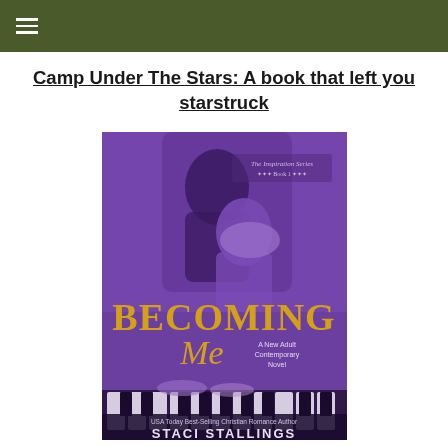☰ (menu icon)
Camp Under The Stars: A book that left you starstruck
[Figure (illustration): Book cover of 'Becoming Me' by Staci Stallings — The Inspiration Series Book 1. A New Adult Contemporary Novel. USA Today Best-Selling Christian Romance Author. Purple-toned cover showing two people in a close romantic pose leaning towards each other, with piano keys at the bottom.]